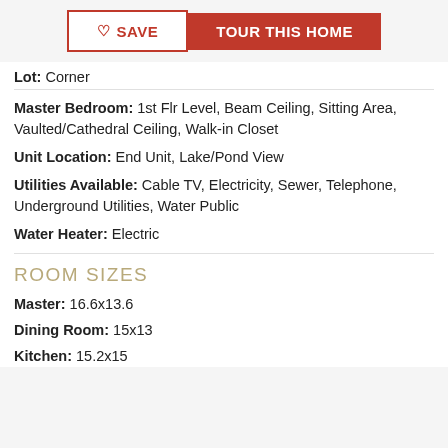[Figure (other): Save and Tour This Home buttons at top of page]
Lot: Corner
Master Bedroom: 1st Flr Level, Beam Ceiling, Sitting Area, Vaulted/Cathedral Ceiling, Walk-in Closet
Unit Location: End Unit, Lake/Pond View
Utilities Available: Cable TV, Electricity, Sewer, Telephone, Underground Utilities, Water Public
Water Heater: Electric
ROOM SIZES
Master: 16.6x13.6
Dining Room: 15x13
Kitchen: 15.2x15